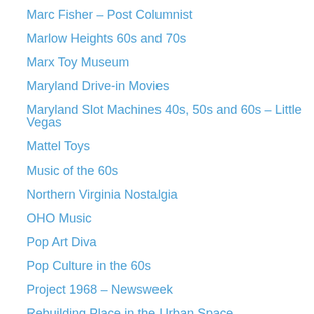Marc Fisher – Post Columnist
Marlow Heights 60s and 70s
Marx Toy Museum
Maryland Drive-in Movies
Maryland Slot Machines 40s, 50s and 60s – Little Vegas
Mattel Toys
Music of the 60s
Northern Virginia Nostalgia
OHO Music
Pop Art Diva
Pop Culture in the 60s
Project 1968 – Newsweek
Rebuilding Place in the Urban Space
Roadside Architecture (old structures around the country)
Robin's Web
Shorpy – Very Cool Photos
Silver Spring Historical Society
Take Me Back to the Sixties
The “Block” in Baltimore I
The “Block” in Baltimore II